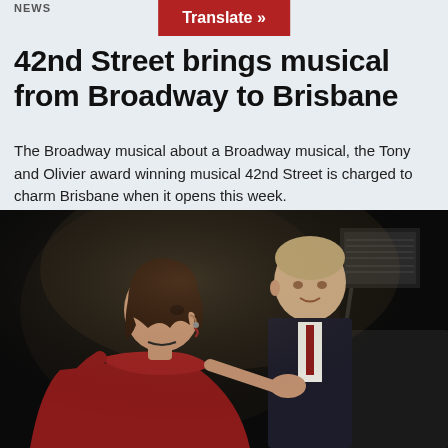NEWS
42nd Street brings musical from Broadway to Brisbane
The Broadway musical about a Broadway musical, the Tony and Olivier award winning musical 42nd Street is charged to charm Brisbane when it opens this week.
[Figure (photo): Two musicians at a piano on a dark stage. A woman in a red dress plays the piano while a man in a dark suit stands behind her. Sheet music is visible on the piano.]